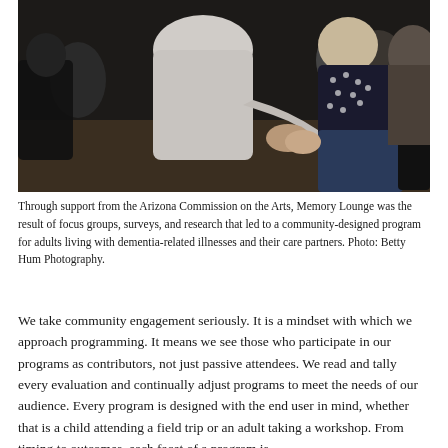[Figure (photo): A group of people seated in a circle; a person in a light grey sweater holds hands with an elderly woman in a dark polka-dot top, suggesting a care or community engagement setting.]
Through support from the Arizona Commission on the Arts, Memory Lounge was the result of focus groups, surveys, and research that led to a community-designed program for adults living with dementia-related illnesses and their care partners. Photo: Betty Hum Photography.
We take community engagement seriously. It is a mindset with which we approach programming. It means we see those who participate in our programs as contributors, not just passive attendees. We read and tally every evaluation and continually adjust programs to meet the needs of our audience. Every program is designed with the end user in mind, whether that is a child attending a field trip or an adult taking a workshop. From timing to outcomes, each facet of a program is